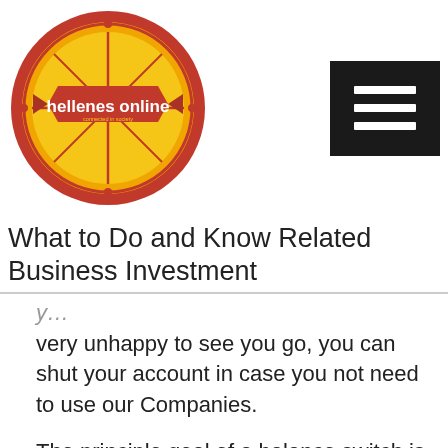[Figure (logo): Hellenes Online circular logo with red banner and yellow background]
What to Do and Know Related Business Investment
very unhappy to see you go, you can shut your account in case you not need to use our Companies.
The principle goal of a balance switch is to economize on current debt. In any case, keep watch over your dashboard to see when the